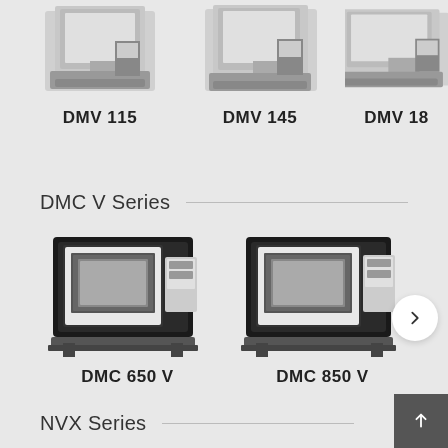[Figure (photo): CNC vertical machining center DMV 115 machine photo, partially cropped at top]
DMV 115
[Figure (photo): CNC vertical machining center DMV 145 machine photo, partially cropped at top]
DMV 145
[Figure (photo): CNC vertical machining center DMV 18x machine photo, partially cropped at top and right]
DMV 18
DMC V Series
[Figure (photo): DMC 650 V CNC machining center with control panel visible]
DMC 650 V
[Figure (photo): DMC 850 V CNC machining center with control panel visible]
DMC 850 V
NVX Series